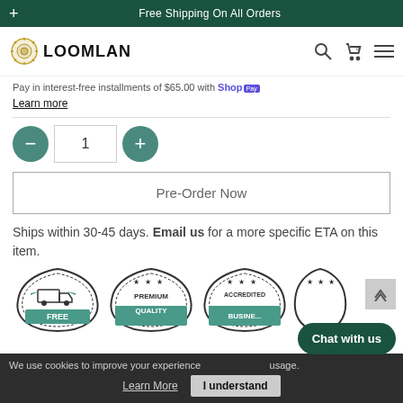+ Free Shipping On All Orders
[Figure (logo): LOOMLAN logo with gear/sun icon]
Pay in interest-free installments of $65.00 with Shop Pay. Learn more
1 (quantity selector with minus and plus buttons)
Pre-Order Now
Ships within 30-45 days. Email us for a more specific ETA on this item.
[Figure (infographic): Trust badges: FREE SHIPPING, PREMIUM QUALITY, ACCREDITED BUSINESS icons]
We use cookies to improve your experience. Learn More  I understand